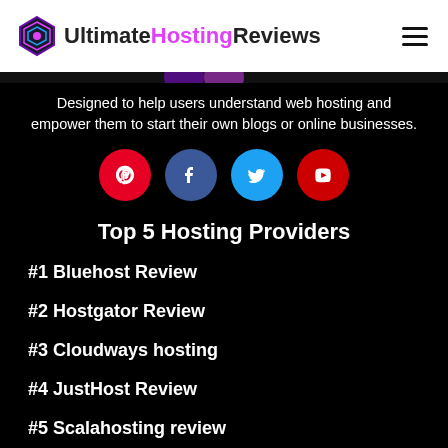UltimateHostingReviews
[Figure (illustration): Dark banner strip with partial logo icons visible]
Designed to help users understand web hosting and empower them to start their own blogs or online businesses.
[Figure (infographic): Four social media icons: Pinterest (red circle), Facebook (dark blue circle), Twitter (light blue circle), YouTube (red circle)]
Top 5 Hosting Providers
#1 Bluehost Review
#2 Hostgator Review
#3 Cloudways hosting
#4 JustHost Review
#5 Scalahosting review